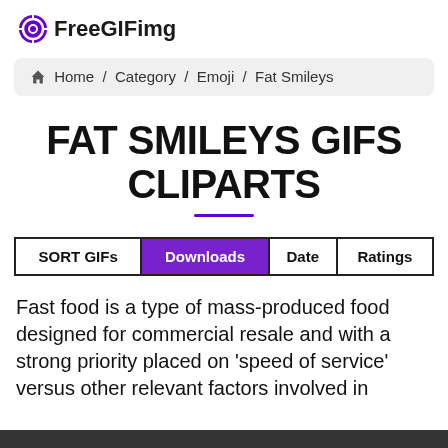FreeGIFimg
Home / Category / Emoji / Fat Smileys
FAT SMILEYS GIFS CLIPARTS
| SORT GIFs | Downloads | Date | Ratings |
| --- | --- | --- | --- |
Fast food is a type of mass-produced food designed for commercial resale and with a strong priority placed on 'speed of service' versus other relevant factors involved in culinary arts. Fast food was created...